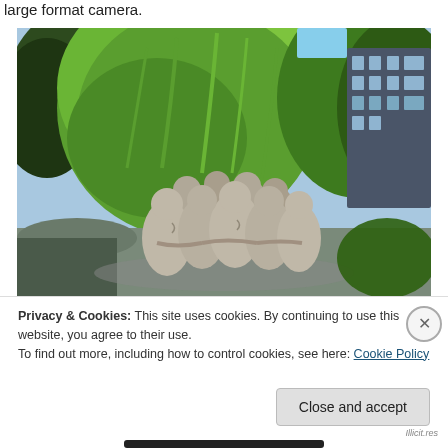large format camera.
[Figure (photo): Outdoor photograph showing a group sculpture of huddled human figures made of grey stone, set against lush green willow trees and a dark building in the background on a sunny day.]
Privacy & Cookies: This site uses cookies. By continuing to use this website, you agree to their use.
To find out more, including how to control cookies, see here: Cookie Policy
Close and accept